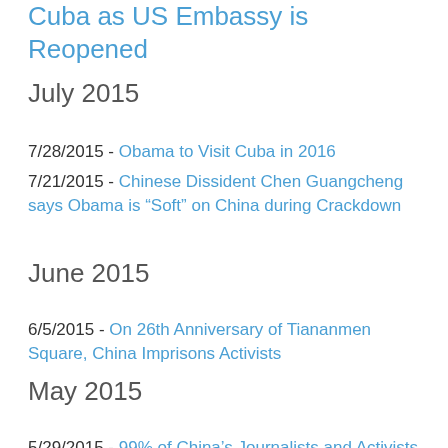Cuba as US Embassy is Reopened
July 2015
7/28/2015 - Obama to Visit Cuba in 2016
7/21/2015 - Chinese Dissident Chen Guangcheng says Obama is “Soft” on China during Crackdown
June 2015
6/5/2015 - On 26th Anniversary of Tiananmen Square, China Imprisons Activists
May 2015
5/29/2015 - 99% of China’s Journalists and Activists Repeat Government Intimidation